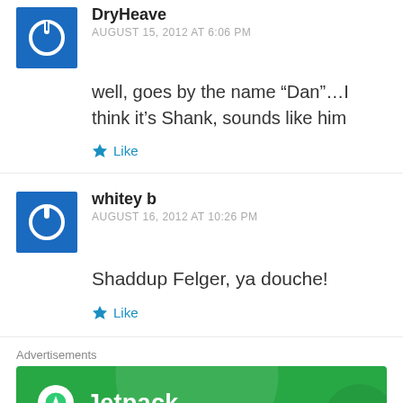DryHeave
AUGUST 15, 2012 AT 6:06 PM
well, goes by the name “Dan”…I think it’s Shank, sounds like him
Like
whitey b
AUGUST 16, 2012 AT 10:26 PM
Shaddup Felger, ya douche!
Like
Advertisements
[Figure (logo): Jetpack advertisement banner with green background and Jetpack logo and text]